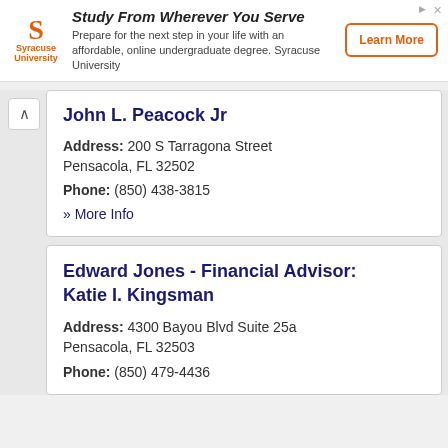[Figure (other): Syracuse University advertisement banner with logo, headline 'Study From Wherever You Serve', body text, and 'Learn More' button]
John L. Peacock Jr
Address: 200 S Tarragona Street Pensacola, FL 32502
Phone: (850) 438-3815
» More Info
Edward Jones - Financial Advisor: Katie I. Kingsman
Address: 4300 Bayou Blvd Suite 25a Pensacola, FL 32503
Phone: (850) 479-4436